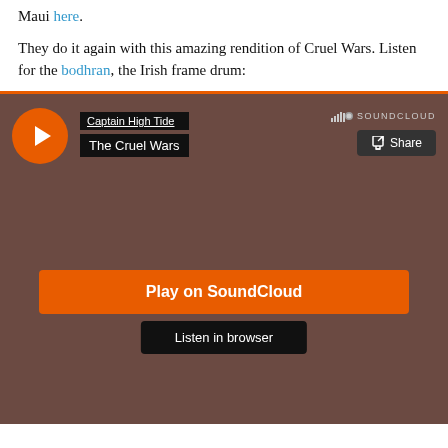Maui here.
They do it again with this amazing rendition of Cruel Wars. Listen for the bodhran, the Irish frame drum:
[Figure (screenshot): SoundCloud embedded player showing 'Captain High Tide - The Cruel Wars' with orange play button, Play on SoundCloud button, and Listen in browser button on a dark brownish-red background.]